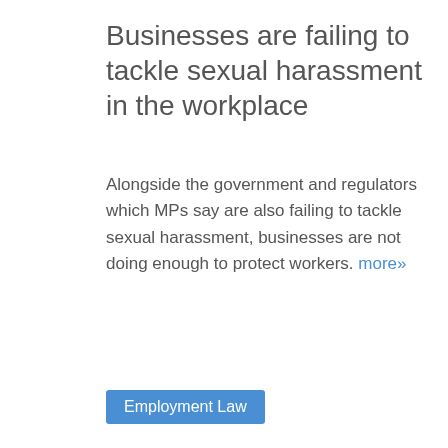Businesses are failing to tackle sexual harassment in the workplace
Alongside the government and regulators which MPs say are also failing to tackle sexual harassment, businesses are not doing enough to protect workers. more»
Employment Law